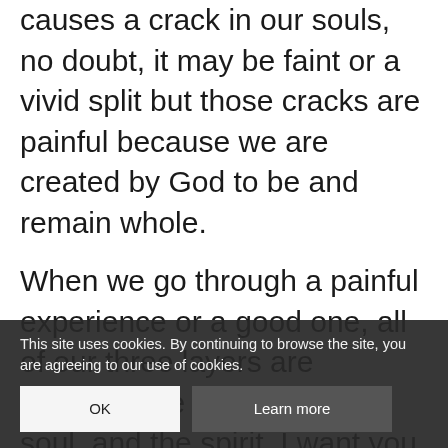causes a crack in our souls, no doubt, it may be faint or a vivid split but those cracks are painful because we are created by God to be and remain whole.
When we go through a painful experience or a good one, all of our three layers are touched, the physical, the soul, and the spirit. I want you to always think that you are one being and what happens to you affects you totally on all levels. Science or psychology may not always reveal this to us, for instance, Man does not identify believe a man has a spirit, they identify your soul, your emotions, thoughts, and will, and of course the obvious which is
This site uses cookies. By continuing to browse the site, you are agreeing to our use of cookies.